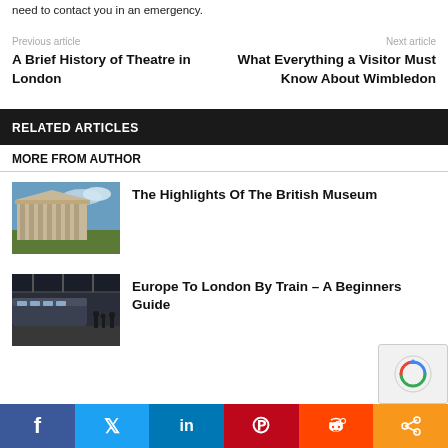need to contact you in an emergency.
Previous article
A Brief History of Theatre in London
Next article
What Everything a Visitor Must Know About Wimbledon
RELATED ARTICLES
MORE FROM AUTHOR
[Figure (photo): Exterior of the British Museum with classical columns and green lawn]
The Highlights Of The British Museum
[Figure (photo): Train station interior with modern trains and people walking]
Europe To London By Train – A Beginners Guide